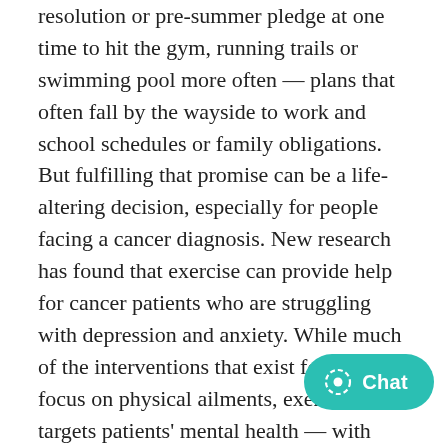resolution or pre-summer pledge at one time to hit the gym, running trails or swimming pool more often — plans that often fall by the wayside to work and school schedules or family obligations. But fulfilling that promise can be a life-altering decision, especially for people facing a cancer diagnosis. New research has found that exercise can provide help for cancer patients who are struggling with depression and anxiety. While much of the interventions that exist for patients focus on physical ailments, exercise targets patients' mental health — with impressive results. What can exercise do? According to researchers at Edith Cowan University in Australia, just 2.5 hours of physical exercise a week can greatly reduce a cancer patient's depression and anxiety.